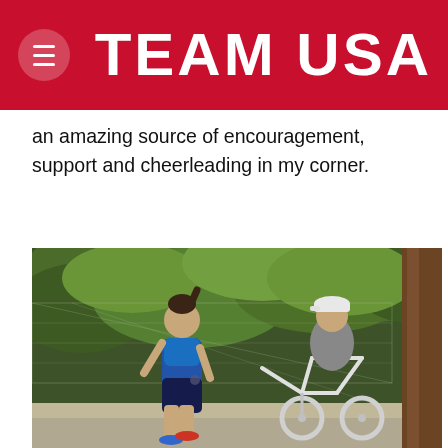TEAM USA
an amazing source of encouragement, support and cheerleading in my corner.
[Figure (photo): An outdoor photo showing a female runner in blue sports outfit jogging alongside a person on a white bicycle, with green trees and chain-link fence in the background.]